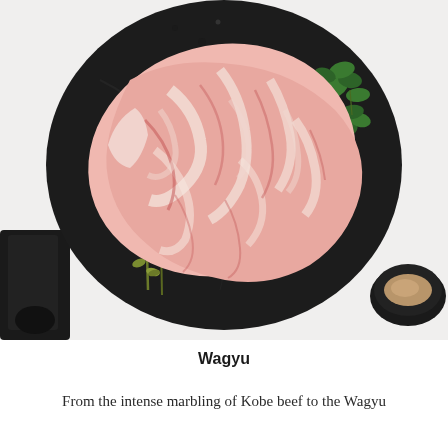[Figure (photo): Overhead photo of a highly marbled Wagyu steak placed on a round black marble serving board. Fresh herb sprigs (thyme) are arranged on the left side of the board, green leafy herbs on the upper right. A knife handle is visible at lower left and a small black bowl with seasoning at lower right. Background is white.]
Wagyu
From the intense marbling of Kobe beef to the Wagyu